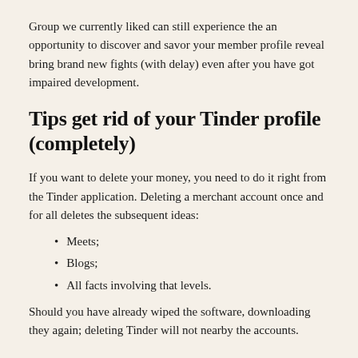Group we currently liked can still experience the an opportunity to discover and savor your member profile reveal bring brand new fights (with delay) even after you have got impaired development.
Tips get rid of your Tinder profile (completely)
If you want to delete your money, you need to do it right from the Tinder application. Deleting a merchant account once and for all deletes the subsequent ideas:
Meets;
Blogs;
All facts involving that levels.
Should you have already wiped the software, downloading they again; deleting Tinder will not nearby the accounts.